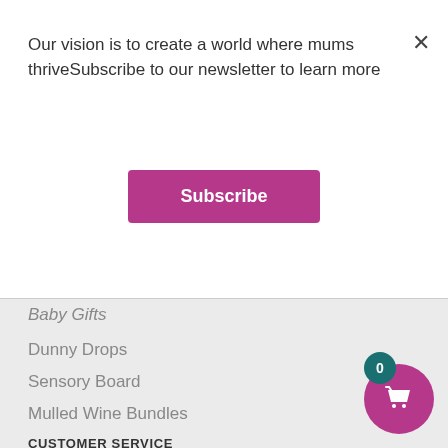Our vision is to create a world where mums thriveSubscribe to our newsletter to learn more
Subscribe
Baby Gifts
Dunny Drops
Sensory Board
Mulled Wine Bundles
CUSTOMER SERVICE
FAQ for Buyers
Shipping & Returns